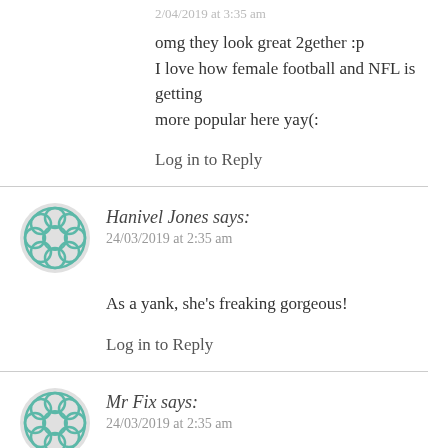omg they look great 2gether :p
I love how female football and NFL is getting more popular here yay(:
Log in to Reply
Hanivel Jones says:
24/03/2019 at 2:35 am
As a yank, she's freaking gorgeous!
Log in to Reply
Mr Fix says:
24/03/2019 at 2:35 am
Great video. They both seem very nice people